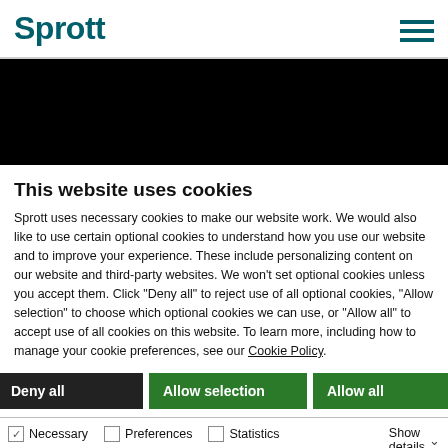Sprott
[Figure (other): Black banner/hero image bar]
This website uses cookies
Sprott uses necessary cookies to make our website work. We would also like to use certain optional cookies to understand how you use our website and to improve your experience. These include personalizing content on our website and third-party websites. We won't set optional cookies unless you accept them. Click "Deny all" to reject use of all optional cookies, "Allow selection" to choose which optional cookies we can use, or "Allow all" to accept use of all cookies on this website. To learn more, including how to manage your cookie preferences, see our Cookie Policy.
Deny all | Allow selection | Allow all
Necessary | Preferences | Statistics | Show details | Marketing